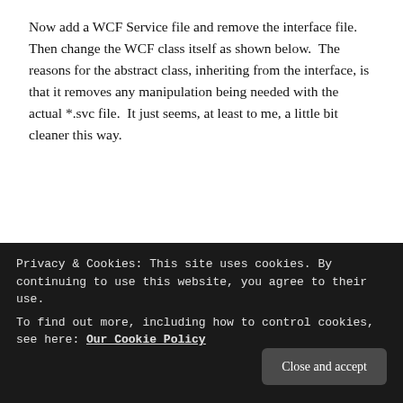Now add a WCF Service file and remove the interface file.  Then change the WCF class itself as shown below.  The reasons for the abstract class, inheriting from the interface, is that it removes any manipulation being needed with the actual *.svc file.  It just seems, at least to me, a little bit cleaner this way.
[sourcecode language="csharp"]
namespace EndToEnd.Mvc
{
public class EndToEndService : InvestorBase
Privacy & Cookies: This site uses cookies. By continuing to use this website, you agree to their use.
To find out more, including how to control cookies, see here: Our Cookie Policy